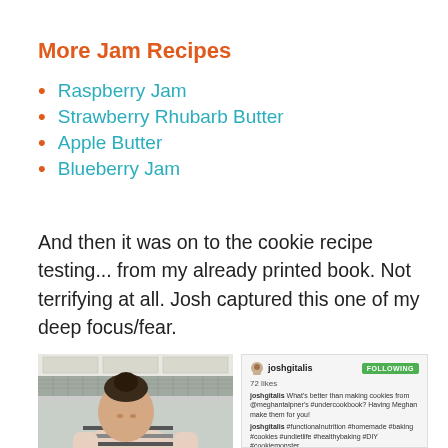More Jam Recipes
Raspberry Jam
Strawberry Rhubarb Butter
Apple Butter
Blueberry Jam
And then it was on to the cookie recipe testing... from my already printed book. Not terrifying at all. Josh captured this one of my deep focus/fear.
[Figure (photo): Instagram post showing a woman in a striped shirt looking down in a kitchen, with Instagram UI showing joshgitalis username, FOLLOWING button, 72 likes, and caption text about making cookies from meghantalpner's #undercookbook]